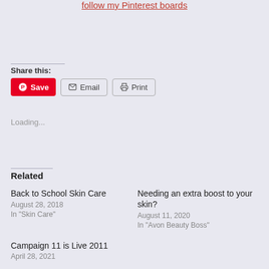follow my Pinterest boards
Share this:
Save  Email  Print
Loading...
Related
Back to School Skin Care
August 28, 2018
In "Skin Care"
Needing an extra boost to your skin?
August 11, 2020
In "Avon Beauty Boss"
Campaign 11 is Live 2011
April 28, 2021